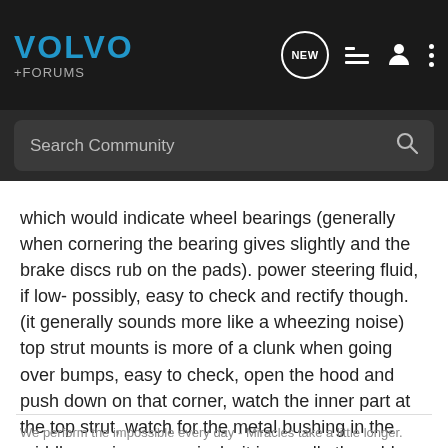[Figure (screenshot): Volvo Forums navigation bar with logo, NEW chat icon, list icon, user icon, and three-dot menu on dark background]
[Figure (screenshot): Search Community search bar on dark background]
which would indicate wheel bearings (generally when cornering the bearing gives slightly and the brake discs rub on the pads). power steering fluid, if low- possibly, easy to check and rectify though. (it generally sounds more like a wheezing noise) top strut mounts is more of a clunk when going over bumps, easy to check, open the hood and push down on that corner, watch the inner part at the top strut, watch for the metal bushing in the middle moving excessively, it is usually the rubber mounts here that fail. CV joints, probably not, if they are bad you will get a clicking noise (in my experience)
We perform the impossible every day - Miracles take a little longer.